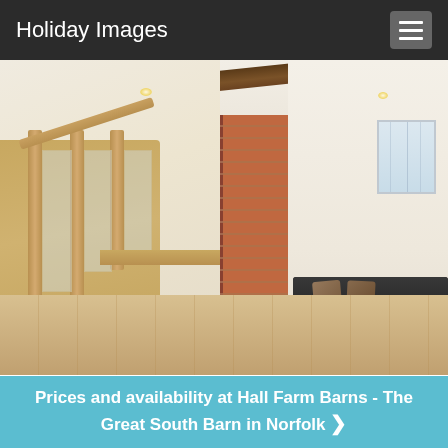Holiday Images
[Figure (photo): Interior of Hall Farm Barns showing wooden staircase with glass panels and oak handrail on the left, an exposed brick column in the center, and a living area with dark leather sofa and wooden beam ceiling on the right. Light oak wood flooring throughout.]
[top]
Prices and availability at Hall Farm Barns - The Great South Barn in Norfolk ❯